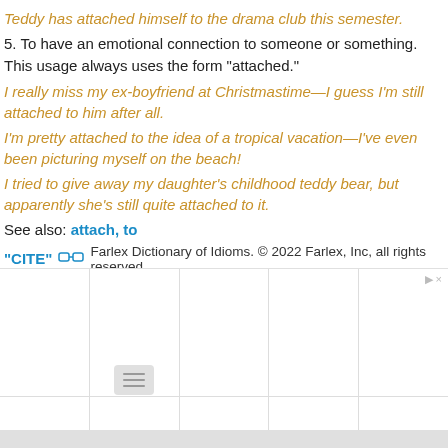Teddy has attached himself to the drama club this semester.
5. To have an emotional connection to someone or something. This usage always uses the form "attached."
I really miss my ex-boyfriend at Christmastime—I guess I'm still attached to him after all.
I'm pretty attached to the idea of a tropical vacation—I've even been picturing myself on the beach!
I tried to give away my daughter's childhood teddy bear, but apparently she's still quite attached to it.
See also: attach, to
"CITE" [link icon] Farlex Dictionary of Idioms. © 2022 Farlex, Inc, all rights reserved.
[Figure (other): Advertisement grid placeholder with 5 columns and 2 rows of empty white cells, with play and close controls in top right corner and a menu button at the bottom center.]